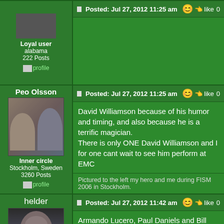Loyal user
alabama
222 Posts
profile
Posted: Jul 27, 2012 11:25 am | like 0
Peo Olsson
[Figure (photo): Photo of two men, one wearing a hat and glasses, the other with a beard, posing together]
Inner circle
Stockholm, Sweden
3260 Posts
profile
David Williamson because of his humor and timing, and also because he is a terrific magician.
There is only ONE David Williamson and I for one cant wait to see him perform at EMC
Pictured to the left my hero and me during FISM 2006 in Stockholm.
helder
Posted: Jul 27, 2012 11:42 am | like 0
[Figure (photo): Portrait photo of a young man with dark hair wearing a black shirt]
Inner circle
Portugal
1045 Posts
profile
Armando Lucero, Paul Daniels and Bill Malone.
My version of Eddie fetcher "Be Honest What's it?" it's available at Penguin Magic
Email: heldermagico@gmail.com
www.facebook.com/heldermagico
Posted: Jul 27, 2012 11:46 am